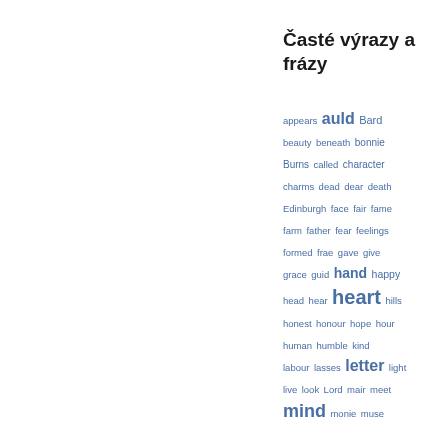Časté výrazy a frázy
appears auld Bard beauty beneath bonnie Burns called character charms dead dear death Edinburgh face fair fame farm father fear feelings formed frae gave give grace guid hand happy head hear heart hills honest honour hope hour human humble kind labour lasses letter light live look Lord mair meet mind monie muse